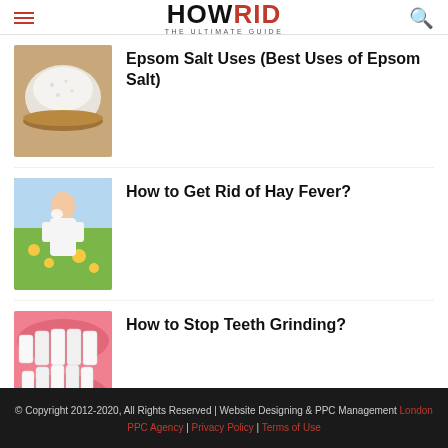HOW RID THE ULTIMATE GUIDE
Epsom Salt Uses (Best Uses of Epsom Salt)
[Figure (photo): A bowl of white Epsom salt crystals on a wooden surface]
How to Get Rid of Hay Fever?
[Figure (photo): A woman sneezing outdoors in a field of flowers]
How to Stop Teeth Grinding?
[Figure (photo): Close-up of human teeth and gums]
© Copyright 2012-2020, All Rights Reserved | Website Designing & PPC Management London PPC Agency | Privacy Policy | Terms of Use